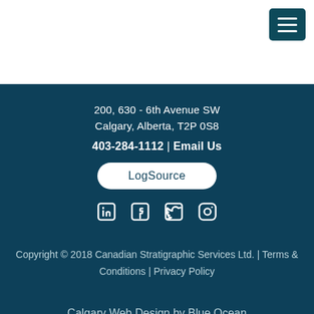[Figure (other): Hamburger menu button (three horizontal lines) on white background, dark teal color, top right corner]
200, 630 - 6th Avenue SW
Calgary, Alberta, T2P 0S8
403-284-1112  |  Email Us
[Figure (logo): LogSource button with white rounded rectangle background and teal text]
[Figure (other): Social media icons: LinkedIn, Facebook, Twitter, Instagram]
Copyright © 2018 Canadian Stratigraphic Services Ltd.  |  Terms & Conditions  |  Privacy Policy
Calgary Web Design by Blue Ocean